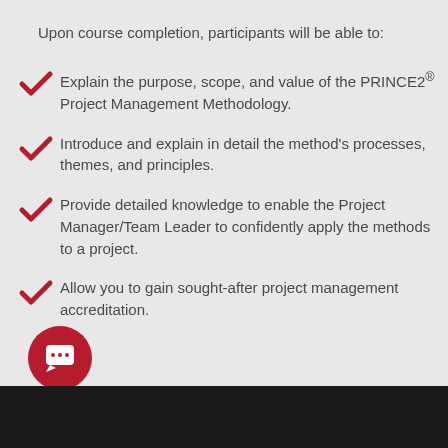Upon course completion, participants will be able to:
Explain the purpose, scope, and value of the PRINCE2® Project Management Methodology.
Introduce and explain in detail the method's processes, themes, and principles.
Provide detailed knowledge to enable the Project Manager/Team Leader to confidently apply the methods to a project.
Allow you to gain sought-after project management accreditation.